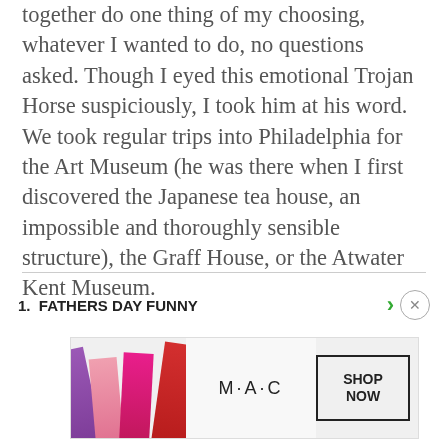together do one thing of my choosing, whatever I wanted to do, no questions asked. Though I eyed this emotional Trojan Horse suspiciously, I took him at his word. We took regular trips into Philadelphia for the Art Museum (he was there when I first discovered the Japanese tea house, an impossible and thoroughly sensible structure), the Graff House, or the Atwater Kent Museum.
1.  FATHERS DAY FUNNY
[Figure (photo): MAC cosmetics advertisement banner showing lipsticks in purple, pink, and red with MAC logo and SHOP NOW button]